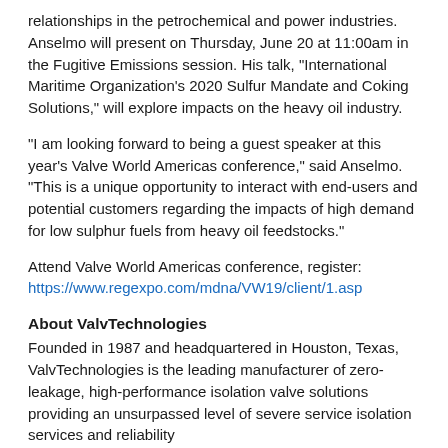relationships in the petrochemical and power industries.  Anselmo will present on Thursday, June 20 at 11:00am in the Fugitive Emissions session. His talk, "International Maritime Organization's 2020 Sulfur Mandate and Coking Solutions," will explore impacts on the heavy oil industry.
"I am looking forward to being a guest speaker at this year's Valve World Americas conference," said Anselmo. "This is a unique opportunity to interact with end-users and potential customers regarding the impacts of high demand for low sulphur fuels from heavy oil feedstocks."
Attend Valve World Americas conference, register: https://www.regexpo.com/mdna/VW19/client/1.asp
About ValvTechnologies
Founded in 1987 and headquartered in Houston, Texas, ValvTechnologies is the leading manufacturer of zero-leakage, high-performance isolation valve solutions providing an unsurpassed level of severe service isolation services and reliability